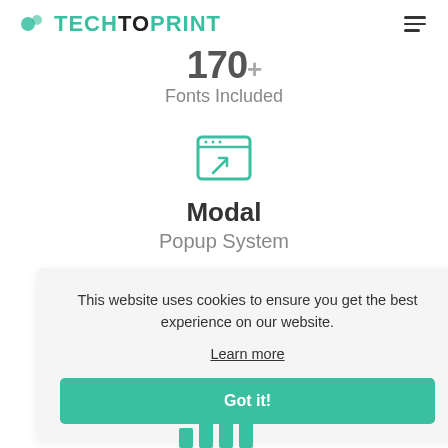TECHTOPRINT
170+ Fonts Included
[Figure (illustration): Teal browser/modal window icon with an arrow pointing up-right]
Modal
Popup System
[Figure (illustration): Partially visible teal icon below modal section]
This website uses cookies to ensure you get the best experience on our website.
Learn more
Got it!
[Figure (infographic): Teal vertical bar chart bars visible at bottom of page]